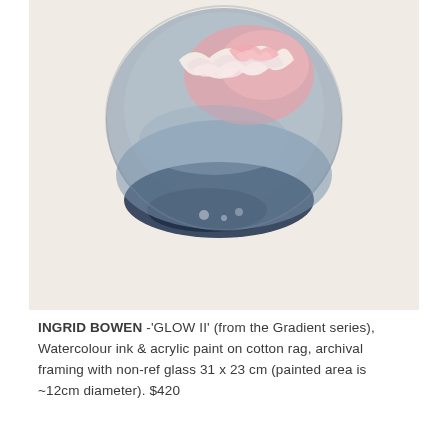[Figure (illustration): Watercolour and ink artwork showing a circular abstract form with pink, blue-grey, and dark navy hues. The circular shape has organic textures — crinkled paper-like forms in pink and white sit atop a blue-grey circular base with dark navy pooling at the bottom. The background of the artwork paper is a warm off-white/cream.]
INGRID BOWEN -'GLOW II' (from the Gradient series), Watercolour ink & acrylic paint on cotton rag, archival framing with non-ref glass 31 x 23 cm (painted area is ~12cm diameter). $420